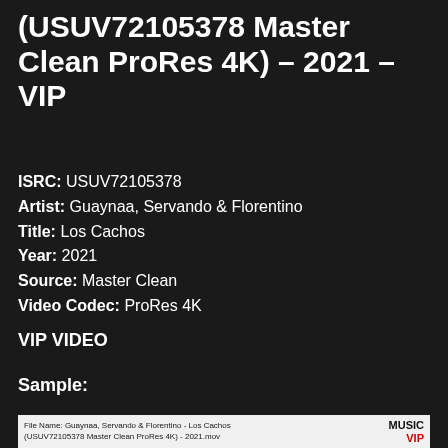(USUV72105378 Master Clean ProRes 4K) – 2021 – VIP
ISRC:  USUV72105378
Artist:  Guaynaa, Servando & Florentino
Title:  Los Cachos
Year:  2021
Source:  Master Clean
Video Codec: ProRes 4K
VIP VIDEO
Sample:
[Figure (screenshot): Screenshot of a file listing showing: File Name: Guaynaa, Servando & Florentino - Los Cachos (USUV72105378 Master Clean ProRes 4K) - 2021.mov with MUSIC VIP logo]